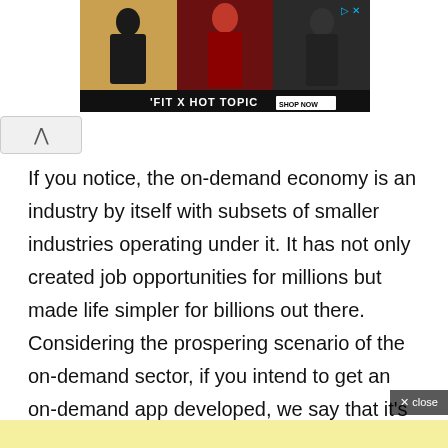[Figure (photo): Advertisement banner for 'FIT X HOT TOPIC' featuring three young people posing, with a 'SHOP NOW' button on a dark background.]
If you notice, the on-demand economy is an industry by itself with subsets of smaller industries operating under it. It has not only created job opportunities for millions but made life simpler for billions out there. Considering the prospering scenario of the on-demand sector, if you intend to get an on-demand app developed, we say that it's the right time.